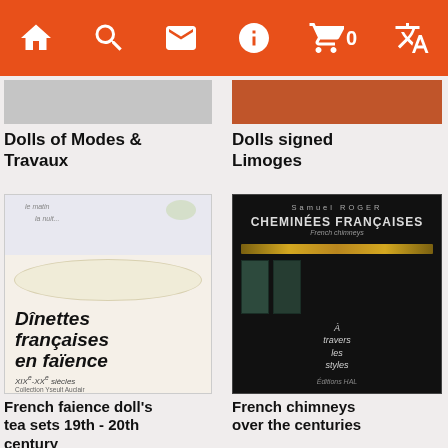[Figure (screenshot): Mobile app navigation bar with orange background containing home, search, mail, info, cart (0), and translate icons]
Dolls of Modes & Travaux
Dolls signed Limoges
[Figure (photo): Book cover: Dînettes françaises en faïence, XIXe-XXe siècles]
French faience doll's tea sets 19th - 20th century
[Figure (photo): Book cover: CHEMINÉES FRANÇAISES / French chimneys, Samuel ROGER, Éditions HAL, À travers les styles]
French chimneys over the centuries
[Figure (photo): Partially visible book cover at bottom left - Jean Claude MARTIN]
[Figure (photo): Partially visible book cover at bottom right - La Restauration, gold colored]